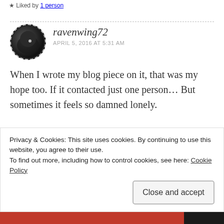Liked by 1 person
[Figure (photo): Circular avatar of a black cat on dark background, with dashed border]
ravenwing72
APRIL 5, 2016 AT 5:31 AM
When I wrote my blog piece on it, that was my hope too. If it contacted just one person… But sometimes it feels so damned lonely.
Privacy & Cookies: This site uses cookies. By continuing to use this website, you agree to their use.
To find out more, including how to control cookies, see here: Cookie Policy
Close and accept